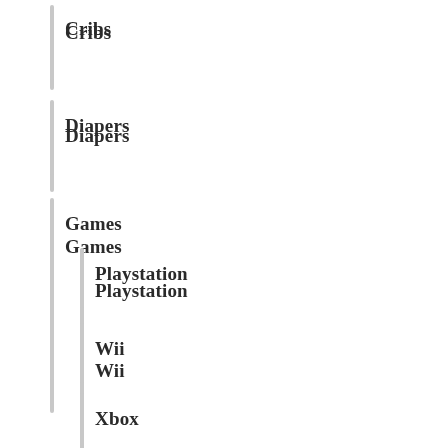Cribs
Diapers
Games
Playstation
Wii
Xbox
Gifts
Instruments
Jewelry